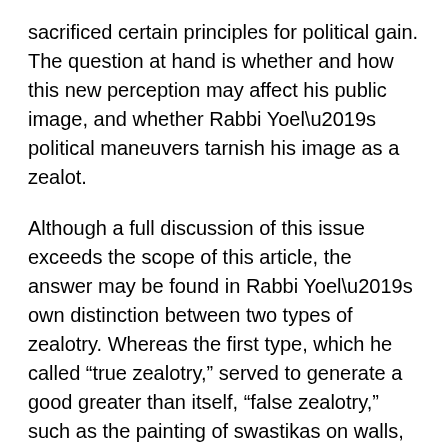sacrificed certain principles for political gain. The question at hand is whether and how this new perception may affect his public image, and whether Rabbi Yoel's political maneuvers tarnish his image as a zealot.
Although a full discussion of this issue exceeds the scope of this article, the answer may be found in Rabbi Yoel's own distinction between two types of zealotry. Whereas the first type, which he called “true zealotry,” served to generate a good greater than itself, “false zealotry,” such as the painting of swastikas on walls, served nothing but to display how zealous one was. This distinction can be demonstrated by comparing Rabbi Yoel’s type of zealotry to that of Amram Bloy, the leader of Neturei Karta in Jerusalem. Although he shared Rabbi Yoel’s anti-